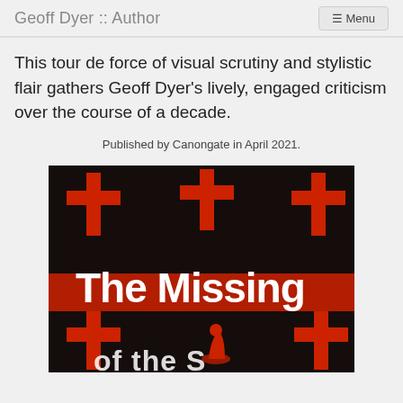Geoff Dyer :: Author
This tour de force of visual scrutiny and stylistic flair gathers Geoff Dyer's lively, engaged criticism over the course of a decade.
Published by Canongate in April 2021.
[Figure (photo): Book cover of 'The Missing of the Somme' showing large red crosses on a black background with the title 'The Missing' in bold white text, and a silhouetted kneeling figure in red.]